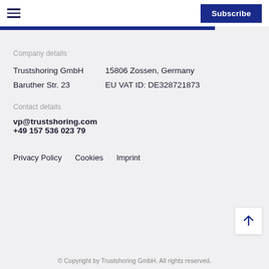Subscribe
Company details
Trustshoring GmbH
Baruther Str. 23
15806 Zossen, Germany
EU VAT ID: DE328721873
Contact details
vp@trustshoring.com
+49 157 536 023 79
Privacy Policy   Cookies   Imprint
© Copyright by Trustshoring GmbH. All rights reserved.